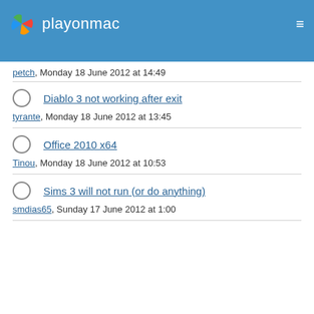playonmac
petch, Monday 18 June 2012 at 14:49
Diablo 3 not working after exit
tyrante, Monday 18 June 2012 at 13:45
Office 2010 x64
Tinou, Monday 18 June 2012 at 10:53
Sims 3 will not run (or do anything)
smdias65, Sunday 17 June 2012 at 1:00